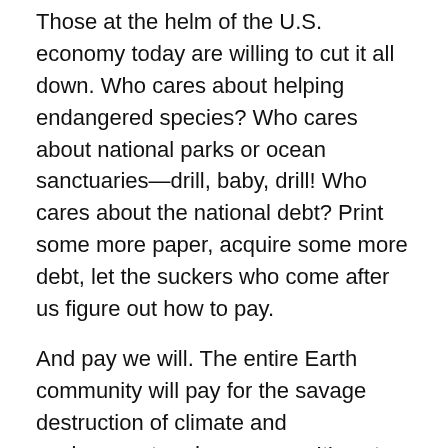Those at the helm of the U.S. economy today are willing to cut it all down. Who cares about helping endangered species? Who cares about national parks or ocean sanctuaries—drill, baby, drill! Who cares about the national debt? Print some more paper, acquire some more debt, let the suckers who come after us figure out how to pay.
And pay we will. The entire Earth community will pay for the savage destruction of climate and environment underway now. It's not just the Sixth Great Extinction, it's also a planetary reset we're witnessing in these early years of the 21st century, on the scale of the shift from the Mesozoic to the Cenozoic eras, when the dinosaurs went extinct.
But this time, it's not a meteor shaking things up on Earth. It's the planet's most successful species, homo sapiens— the most …